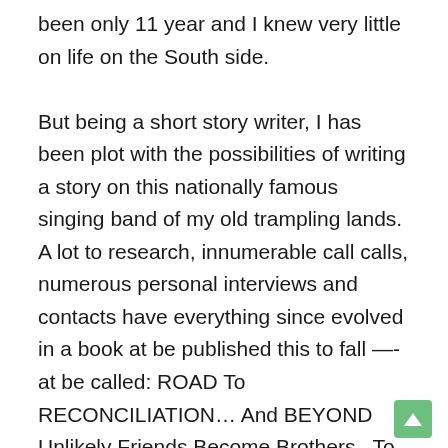been only 11 year and I knew very little on life on the South side.

But being a short story writer, I has been plot with the possibilities of writing a story on this nationally famous singing band of my old trampling lands. A lot to research, innumerable call calls, numerous personal interviews and contacts have everything since evolved in a book at be published this to fall —- at be called: ROAD To RECONCILIATION… And BEYOND Unlikely Friends Become Brothers . To the time I has been Do my to research, I had the opportunity of Meet To mark Prince, the low singer of The Velvet. To mark has been a of of them survivor members of the band, and lived in ft. The pain. How practice.